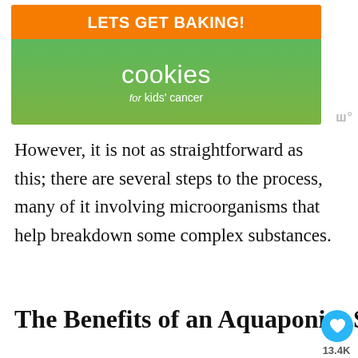[Figure (photo): Advertisement banner for 'Cookies for Kids' Cancer baking campaign with orange and green background. Text reads 'LETS GET BAKING! cookies for kids cancer']
However, it is not as straightforward as this; there are several steps to the process, many of it involving microorganisms that help breakdown some complex substances.
The Benefits of an Aquaponics System
[Figure (photo): Partial photo showing a building structure against a blue sky, partially cut off at bottom of page]
[Figure (photo): Bottom advertisement for Operation Gratitude charity featuring 'thank you' handwritten text, photo of people in masks holding packages, and Operation Gratitude star logo]